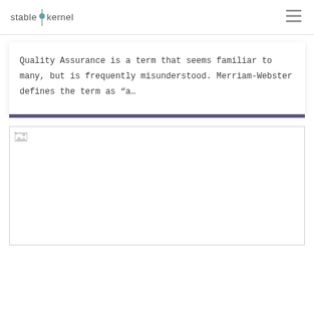stable kernel
Quality Assurance is a term that seems familiar to many, but is frequently misunderstood. Merriam-Webster defines the term as “a…
[Figure (photo): Image placeholder with broken image icon in top-left corner, large white rectangular area]